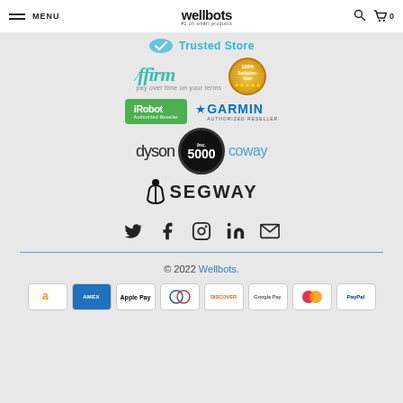MENU | wellbots #1 on smart products | Search | Cart 0
[Figure (logo): Trusted Store badge with blue checkmark icon]
[Figure (logo): Affirm logo - pay over time on your terms - with 100% Satisfaction seal]
[Figure (logo): iRobot Authorized Reseller and Garmin Authorized Reseller logos]
[Figure (logo): Dyson logo, Inc. 5000 circular badge, and Coway logo]
[Figure (logo): Segway logo]
[Figure (infographic): Social media icons: Twitter, Facebook, Instagram, LinkedIn, Email]
© 2022 Wellbots.
[Figure (infographic): Payment method icons: Amazon, Amex, Apple Pay, Diners, Discover, Google Pay, Mastercard, PayPal]